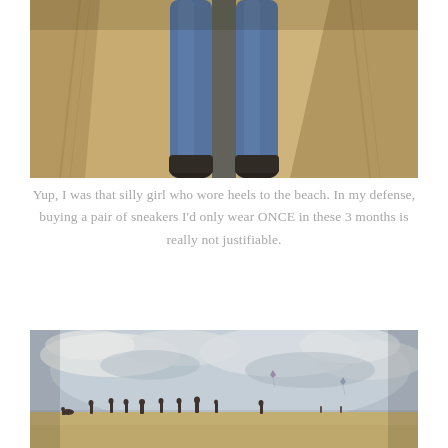[Figure (photo): Looking down photo of person wearing blue jeans and dark heels standing on sandy beach, with tire tracks visible in sand]
Yup, I was that silly girl who wore heels to the beach. In my defense, buying a pair of sneakers I'd only wear ONCE in these 3 months is really not justifiable.
[Figure (photo): Wide beach scene with cloudy sky, several people walking on sandy shore, kites visible in distance]